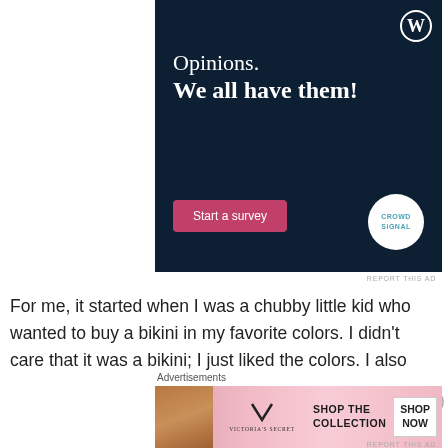[Figure (infographic): WordPress/CrowdSignal dark navy blue ad banner: 'Opinions. We all have them!' with a pink 'Start a survey' button and CrowdSignal logo circle. WordPress logo in top right.]
REPORT THIS AD
For me, it started when I was a chubby little kid who wanted to buy a bikini in my favorite colors. I didn't care that it was a bikini; I just liked the colors. I also
[Figure (infographic): Victoria's Secret advertisement banner with pink gradient background, model photo on left, VS logo, text 'SHOP THE COLLECTION', and 'SHOP NOW' button.]
Advertisements
REPORT THIS AD